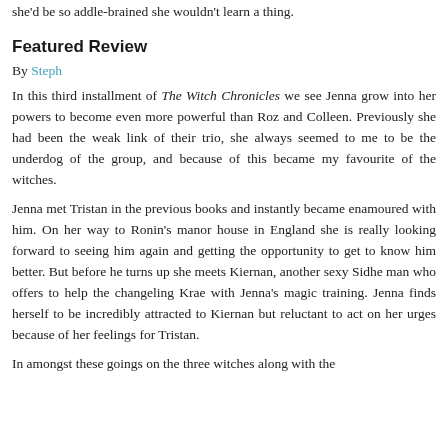she'd be so addle-brained she wouldn't learn a thing.
Featured Review
By Steph
In this third installment of The Witch Chronicles we see Jenna grow into her powers to become even more powerful than Roz and Colleen. Previously she had been the weak link of their trio, she always seemed to me to be the underdog of the group, and because of this became my favourite of the witches.
Jenna met Tristan in the previous books and instantly became enamoured with him. On her way to Ronin's manor house in England she is really looking forward to seeing him again and getting the opportunity to get to know him better. But before he turns up she meets Kiernan, another sexy Sidhe man who offers to help the changeling Krae with Jenna's magic training. Jenna finds herself to be incredibly attracted to Kiernan but reluctant to act on her urges because of her feelings for Tristan.
In amongst these goings on the three witches along with the